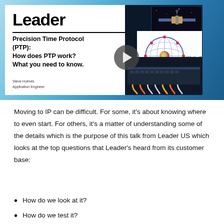[Figure (screenshot): Slide thumbnail showing Leader logo, title 'Precision Time Protocol (PTP): How does PTP work? What you need to know.' by Steve Holmes, Application Engineer, with images of a satellite, globe network diagram, and network equipment. A play button overlay is visible.]
Moving to IP can be difficult. For some, it's about knowing where to even start. For others, it's a matter of understanding some of the details which is the purpose of this talk from Leader US which looks at the top questions that Leader's heard from its customer base:
How do we look at it?
How do we test it?